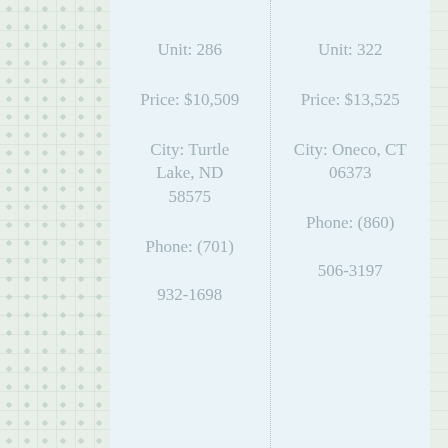Unit: 286
Price: $10,509
City: Turtle Lake, ND 58575
Phone: (701) 932-1698
Unit: 322
Price: $13,525
City: Oneco, CT 06373
Phone: (860) 506-3197